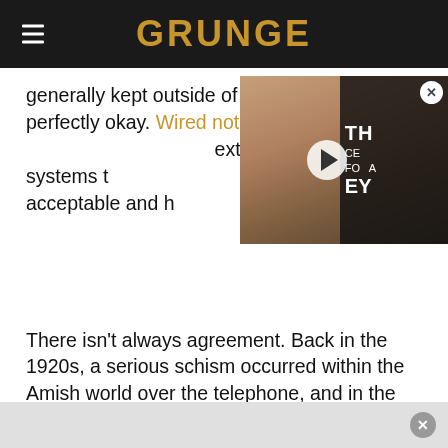GRUNGE
generally kept outside of the home, they're perfectly okay. Wired notes that Amish communities develop extremely elaborate systems to determine what technology is acceptable and how...
[Figure (screenshot): Video thumbnail overlay showing a man at an event, with partial text 'TH...EY CE...FO...A' visible on right side, play button in center, and close button top right]
There isn't always agreement. Back in the 1920s, a serious schism occurred within the Amish world over the telephone, and in the modern day, the use of cell phones is a controversial gray area. The Amish resist having telephones in their house because of the interruption it would represent. But they don't reject technology out of